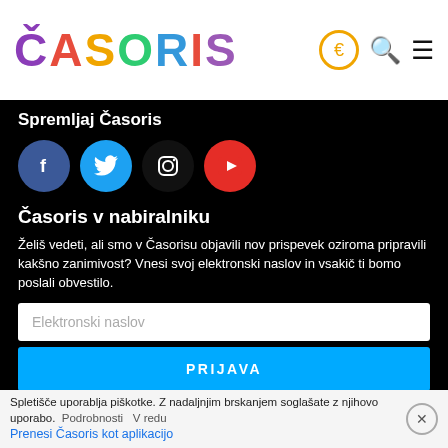ČASORIS
Spremljaj Časoris
[Figure (illustration): Four social media icons: Facebook (blue circle), Twitter (light blue circle), Instagram (black circle), YouTube (red circle)]
Časoris v nabiralniku
Želiš vedeti, ali smo v Časorisu objavili nov prispevek oziroma pripravili kakšno zanimivost? Vnesi svoj elektronski naslov in vsakič ti bomo poslali obvestilo.
Elektronski naslov
PRIJAVA
Spletišče uporablja piškotke. Z nadaljnjim brskanjem soglašate z njihovo uporabo.  Podrobnosti    V redu